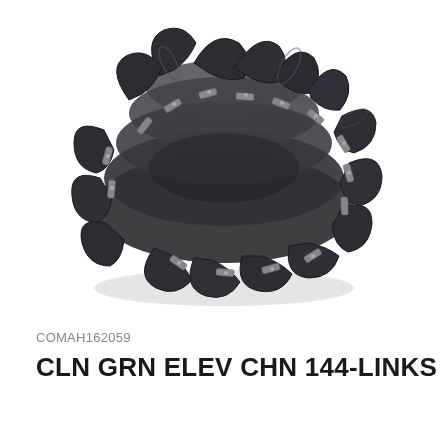[Figure (photo): A coiled grain elevator chain with 144 links and curved metal paddles/flights attached, photographed on a white background. The chain is made of dark metal with galvanized/silver connector links and multiple curved paddle blades.]
COMAH162059
CLN GRN ELEV CHN 144-LINKS